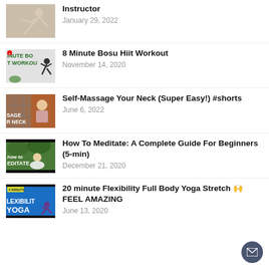Instructor
January 29, 2022
8 Minute Bosu Hiit Workout
November 14, 2020
Self-Massage Your Neck (Super Easy!) #shorts
June 6, 2022
How To Meditate: A Complete Guide For Beginners (5-min)
December 21, 2020
20 minute Flexibility Full Body Yoga Stretch 🙌 FEEL AMAZING
June 13, 2020